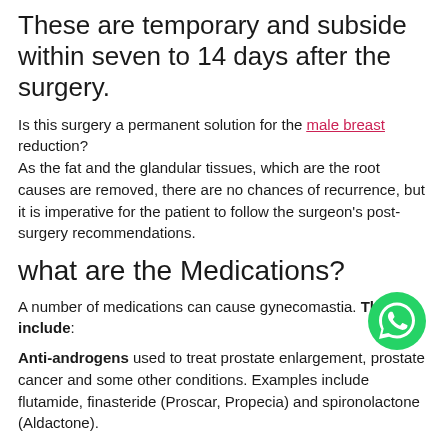These are temporary and subside within seven to 14 days after the surgery.
Is this surgery a permanent solution for the male breast reduction?
As the fat and the glandular tissues, which are the root causes are removed, there are no chances of recurrence, but it is imperative for the patient to follow the surgeon's post-surgery recommendations.
what are the Medications?
A number of medications can cause gynecomastia. They include:
Anti-androgens used to treat prostate enlargement, prostate cancer and some other conditions. Examples include flutamide, finasteride (Proscar, Propecia) and spironolactone (Aldactone).